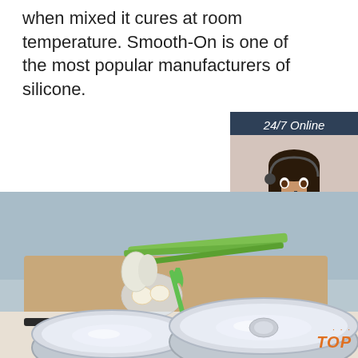when mixed it cures at room temperature. Smooth-On is one of the most popular manufacturers of silicone.
[Figure (other): Orange 'Get Price' button]
[Figure (other): 24/7 Online chat widget with female customer service agent wearing headset, blue/dark background, 'Click here for free chat!' text, orange QUOTATION button]
[Figure (photo): Kitchen scene showing stainless steel mixing bowls, green onions, eggs in a glass bowl, green whisk, cutting board, and knife. Orange TOP logo in bottom right corner.]